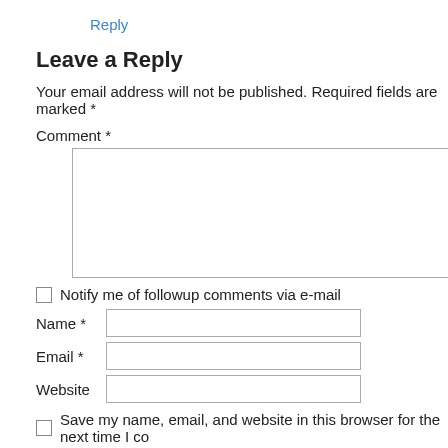Reply
Leave a Reply
Your email address will not be published. Required fields are marked *
Comment *
Notify me of followup comments via e-mail
Name *
Email *
Website
Save my name, email, and website in this browser for the next time I co
Sign me up for the Trevor's Birding newsletter!